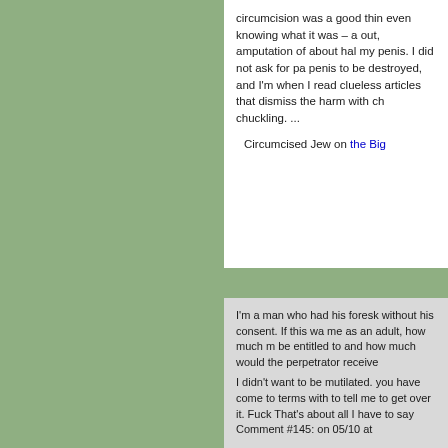circumcision was a good thin even knowing what it was – a out, amputation of about hal my penis. I did not ask for pa penis to be destroyed, and I'm when I read clueless articles that dismiss the harm with ch chuckling. ...
Circumcised Jew on the Big
I'm a man who had his foresk without his consent. If this wa me as an adult, how much m be entitled to and how much would the perpetrator receive
I didn't want to be mutilated. you have come to terms with to tell me to get over it. Fuck That's about all I have to say Comment #145: on 05/10 at